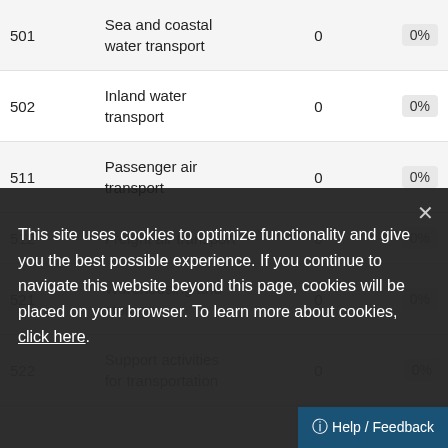| Code | Description | Count | Percentage |
| --- | --- | --- | --- |
| 501 | Sea and coastal water transport | 0 | 0% |
| 502 | Inland water transport | 0 | 0% |
| 511 | Passenger air transport | 0 | 0% |
| 512 | Freight air transport | 0 | 0% |
| 521 | Warehousing and storage | 0 | 0% |
| 522 | Support activities for transportation | 0 | 0% |
This site uses cookies to optimize functionality and give you the best possible experience. If you continue to navigate this website beyond this page, cookies will be placed on your browser. To learn more about cookies, click here.